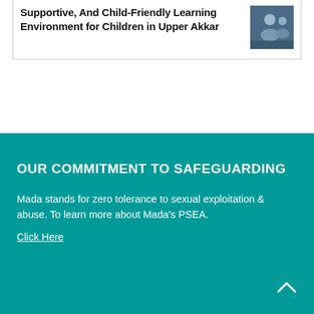Supportive, And Child-Friendly Learning Environment for Children in Upper Akkar
[Figure (photo): Photo of children in a learning environment, Upper Akkar]
OUR COMMITMENT TO SAFEGUARDING
Mada stands for zero tolerance to sexual exploitation & abuse. To learn more about Mada's PSEA.
Click Here